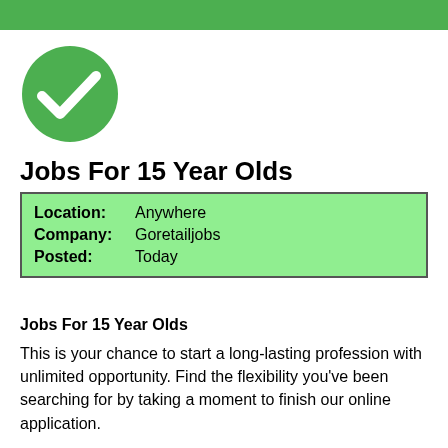[Figure (illustration): Green circle with white checkmark icon]
Jobs For 15 Year Olds
| Location: | Anywhere |
| Company: | Goretailjobs |
| Posted: | Today |
Jobs For 15 Year Olds
This is your chance to start a long-lasting profession with unlimited opportunity. Find the flexibility you've been searching for by taking a moment to finish our online application.